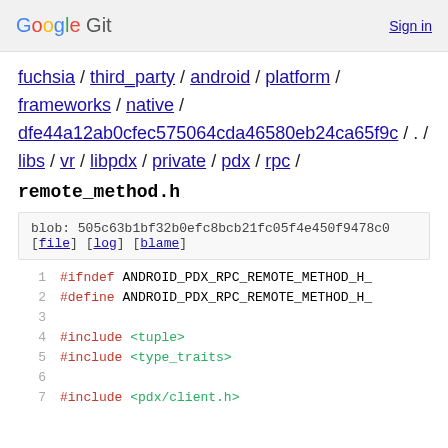Google Git  Sign in
fuchsia / third_party / android / platform / frameworks / native / dfe44a12ab0cfec575064cda46580eb24ca65f9c / . / libs / vr / libpdx / private / pdx / rpc /
remote_method.h
blob: 505c63b1bf32b0efc8bcb21fc05f4e450f9478c0
[file] [log] [blame]
1  #ifndef ANDROID_PDX_RPC_REMOTE_METHOD_H_
2  #define ANDROID_PDX_RPC_REMOTE_METHOD_H_
3
4  #include <tuple>
5  #include <type_traits>
6
7  #include <pdx/client.h>